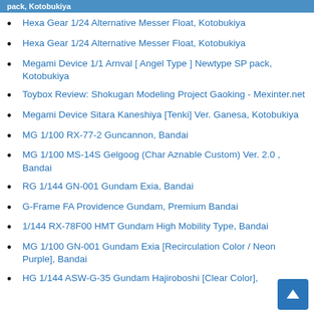pack, Kotobukiya
Hexa Gear 1/24 Alternative Messer Float, Kotobukiya
Hexa Gear 1/24 Alternative Messer Float, Kotobukiya
Megami Device 1/1 Arnval [ Angel Type ] Newtype SP pack, Kotobukiya
Toybox Review: Shokugan Modeling Project Gaoking - Mexinter.net
Megami Device Sitara Kaneshiya [Tenki] Ver. Ganesa, Kotobukiya
MG 1/100 RX-77-2 Guncannon, Bandai
MG 1/100 MS-14S Gelgoog (Char Aznable Custom) Ver. 2.0 , Bandai
RG 1/144 GN-001 Gundam Exia, Bandai
G-Frame FA Providence Gundam, Premium Bandai
1/144 RX-78F00 HMT Gundam High Mobility Type, Bandai
MG 1/100 GN-001 Gundam Exia [Recirculation Color / Neon Purple], Bandai
HG 1/144 ASW-G-35 Gundam Hajiroboshi [Clear Color],